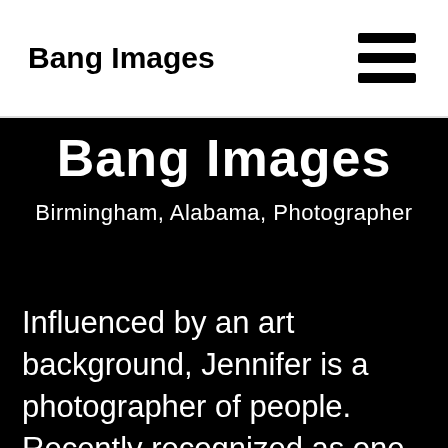Bang Images
Bang Images
Birmingham, Alabama, Photographer
Influenced by an art background, Jennifer is a photographer of people. Recently recognized as one of the 100 Photographers to Watch by Click Community (a national photography organization), she is a family